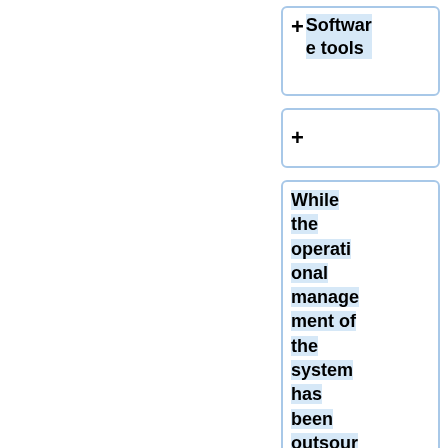+ Software tools
+
While the operational management of the system has been outsourced, the Mars Unit is in charge